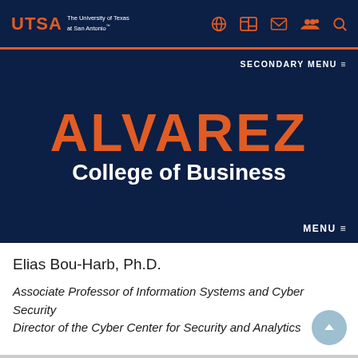[Figure (logo): UTSA logo with text 'The University of Texas at San Antonio' and navigation icons on dark navy header bar]
SECONDARY MENU ≡
ALVAREZ College of Business
MENU ≡
Elias Bou-Harb, Ph.D.
Associate Professor of Information Systems and Cyber Security
Director of the Cyber Center for Security and Analytics